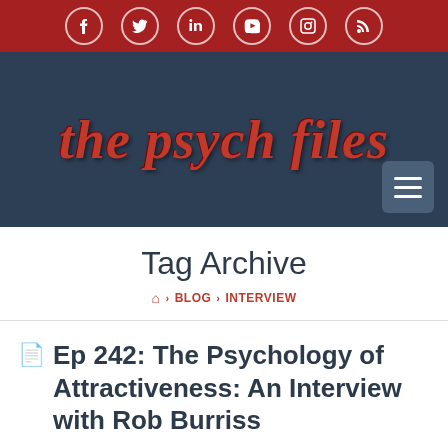Social media icons: Facebook, Twitter, LinkedIn, YouTube, Instagram, RSS
[Figure (logo): The Psych Files logo in red italic serif font on dark blue background]
Tag Archive
Home > BLOG > INTERVIEW
Ep 242: The Psychology of Attractiveness: An Interview with Rob Burriss
Michael / June 25, 2015 /